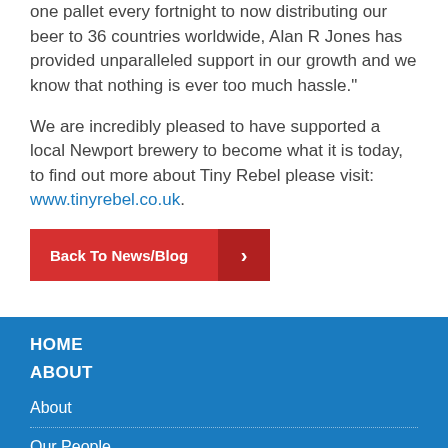one pallet every fortnight to now distributing our beer to 36 countries worldwide, Alan R Jones has provided unparalleled support in our growth and we know that nothing is ever too much hassle."
We are incredibly pleased to have supported a local Newport brewery to become what it is today, to find out more about Tiny Rebel please visit: www.tinyrebel.co.uk.
Back To News/Blog
HOME
ABOUT
About
Our People
Tradition